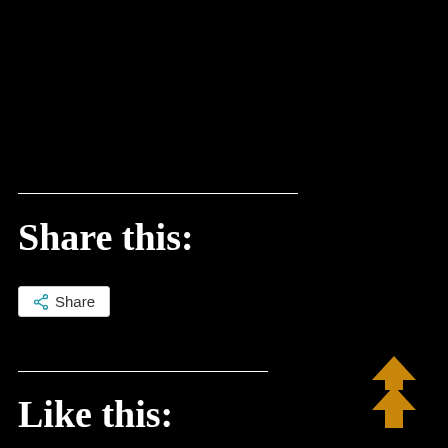Share this:
[Figure (other): Share button with share icon and text 'Share']
Like this:
[Figure (other): Orange double up-arrow / scroll-to-top icon in the bottom right corner]